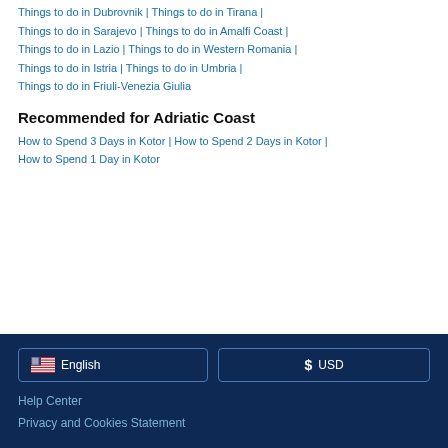Things to do in Dubrovnik | Things to do in Tirana |
Things to do in Sarajevo | Things to do in Amalfi Coast |
Things to do in Lazio | Things to do in Western Romania |
Things to do in Istria | Things to do in Umbria |
Things to do in Friuli-Venezia Giulia
Recommended for Adriatic Coast
How to Spend 3 Days in Kotor | How to Spend 2 Days in Kotor |
How to Spend 1 Day in Kotor
English
$ USD
Help Center
Privacy and Cookies Statement